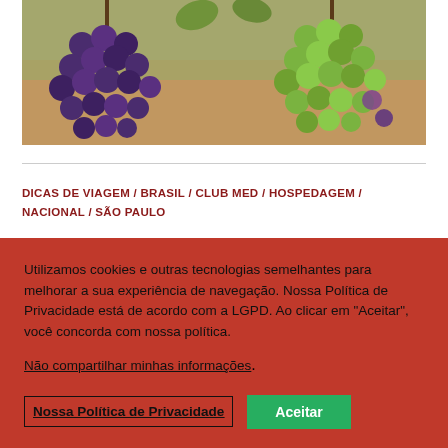[Figure (photo): Close-up photograph of grape clusters hanging on vines — mix of dark purple and green grapes against a blurred earthy background]
DICAS DE VIAGEM / BRASIL / CLUB MED / HOSPEDAGEM / NACIONAL / SÃO PAULO
Utilizamos cookies e outras tecnologias semelhantes para melhorar a sua experiência de navegação. Nossa Política de Privacidade está de acordo com a LGPD. Ao clicar em "Aceitar", você concorda com nossa política.
Não compartilhar minhas informações.
Nossa Política de Privacidade   Aceitar